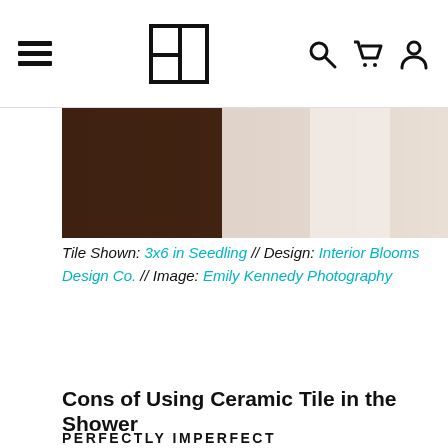Navigation bar with hamburger menu, logo, search, cart, and account icons
[Figure (photo): Partial view of a tiled shower or bathroom wall with dark wood and light tile surfaces]
Tile Shown: 3x6 in Seedling // Design: Interior Blooms Design Co. // Image: Emily Kennedy Photography
Cons of Using Ceramic Tile in the Shower
PERFECTLY IMPERFECT
slight
ould
adds
ant a
This website uses cookies to ensure you get the best experience on our website.
Learn More
Got it!